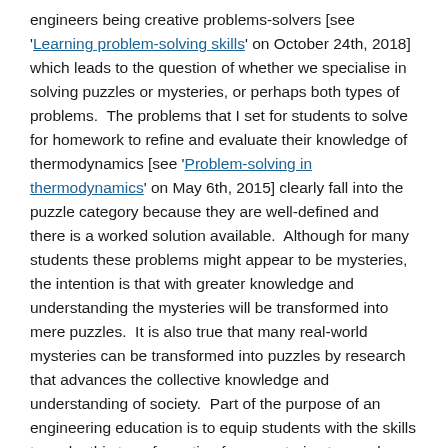engineers being creative problems-solvers [see 'Learning problem-solving skills' on October 24th, 2018] which leads to the question of whether we specialise in solving puzzles or mysteries, or perhaps both types of problems.  The problems that I set for students to solve for homework to refine and evaluate their knowledge of thermodynamics [see 'Problem-solving in thermodynamics' on May 6th, 2015] clearly fall into the puzzle category because they are well-defined and there is a worked solution available.  Although for many students these problems might appear to be mysteries, the intention is that with greater knowledge and understanding the mysteries will be transformed into mere puzzles.  It is also true that many real-world mysteries can be transformed into puzzles by research that advances the collective knowledge and understanding of society.  Part of the purpose of an engineering education is to equip students with the skills to make this transformation from mysteries to puzzles.  At an undergraduate level we use problems that are mysteries only to the students so that success is achievable; however, at the